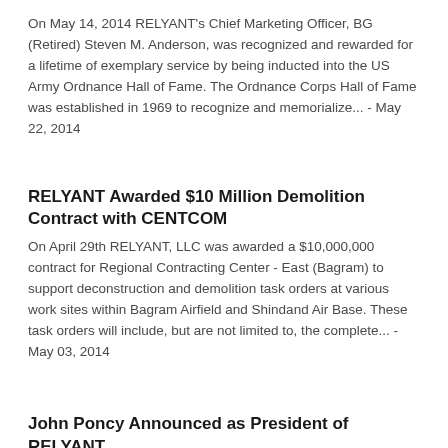On May 14, 2014 RELYANT's Chief Marketing Officer, BG (Retired) Steven M. Anderson, was recognized and rewarded for a lifetime of exemplary service by being inducted into the US Army Ordnance Hall of Fame. The Ordnance Corps Hall of Fame was established in 1969 to recognize and memorialize... - May 22, 2014
RELYANT Awarded $10 Million Demolition Contract with CENTCOM
On April 29th RELYANT, LLC was awarded a $10,000,000 contract for Regional Contracting Center - East (Bagram) to support deconstruction and demolition task orders at various work sites within Bagram Airfield and Shindand Air Base. These task orders will include, but are not limited to, the complete... - May 03, 2014
John Poncy Announced as President of RELYANT
John R. Poncy, formerly CEO of SOC-SMG, The Densus Group, Danet USA, and Venali, has joined RELYANT, LLC as its new President at the